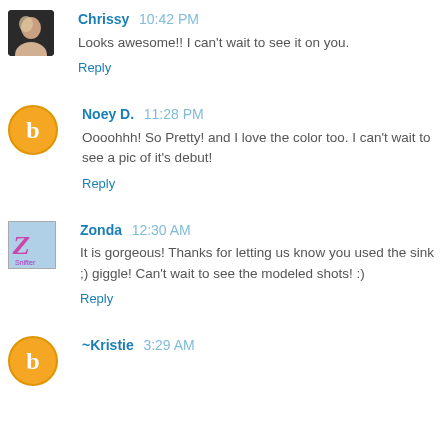Chrissy 10:42 PM
Looks awesome!! I can't wait to see it on you.
Reply
Noey D. 11:28 PM
Oooohhh! So Pretty! and I love the color too. I can't wait to see a pic of it's debut!
Reply
Zonda 12:30 AM
It is gorgeous! Thanks for letting us know you used the sink ;) giggle! Can't wait to see the modeled shots! :)
Reply
~Kristie 3:29 AM